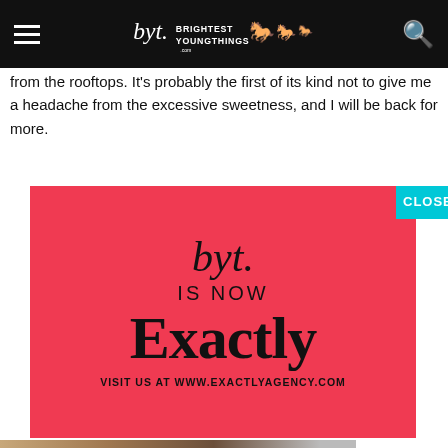Brightest Young Things
from the rooftops. It's probably the first of its kind not to give me a headache from the excessive sweetness, and I will be back for more.
[Figure (advertisement): BYT is now Exactly agency advertisement on red/pink background. Text reads: byt. IS NOW Exactly VISIT US AT WWW.EXACTLYAGENCY.COM]
CLOSE
[Figure (photo): Partial view of a restaurant or venue interior at bottom of page]